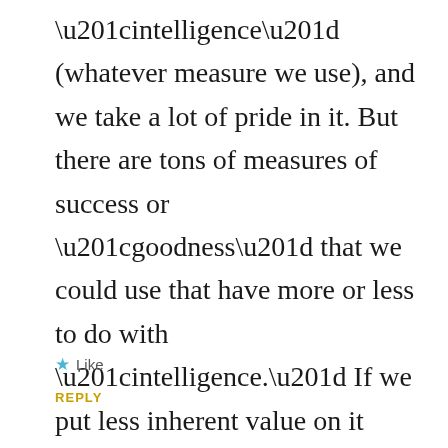“intelligence” (whatever measure we use), and we take a lot of pride in it. But there are tons of measures of success or “goodness” that we could use that have more or less to do with “intelligence.” If we put less inherent value on it (without dismissing its importance, of course), maybe findings about the relation between genetics and intelligence wouldn’t be so dangerous.
★ Like
REPLY